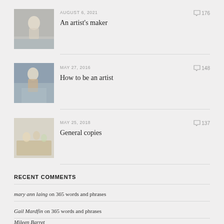[Figure (photo): Black and white photo of a woman near water]
AUGUST 6, 2021
An artist's maker
176 comments
[Figure (photo): Color photo of a person painting or working on art]
MAY 27, 2016
How to be an artist
148 comments
[Figure (photo): Color photo of a still life painting with flowers]
MAY 25, 2018
General copies
137 comments
RECENT COMMENTS
mary ann laing on 365 words and phrases
Gail Mardfin on 365 words and phrases
Milena Barret (partial, cut off)